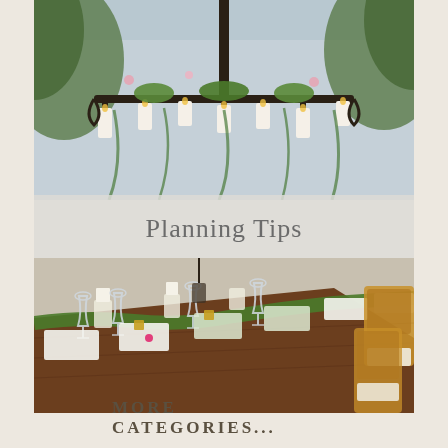[Figure (photo): Elegant wedding chandelier with white pillar candles and lush green foliage and flowers hanging overhead]
Planning Tips
[Figure (photo): Long rustic wooden banquet table set with candles in glass holders, green garland runner, white napkins, wine glasses, and gold chiavari chairs for a wedding reception]
MORE CATEGORIES...